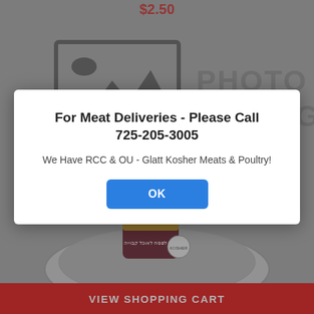$2.50
[Figure (illustration): Photo coming soon placeholder with a generic image icon on the left and the text PHOTO COMING on the right, displayed against a grey background.]
For Meat Deliveries - Please Call 725-205-3005
We Have RCC & OU - Glatt Kosher Meats & Poultry!
OK
$9.99
[Figure (photo): Product image showing a round plate and a kosher meat product package with Hebrew text, partially visible at the bottom of the page.]
VIEW SHOPPING CART